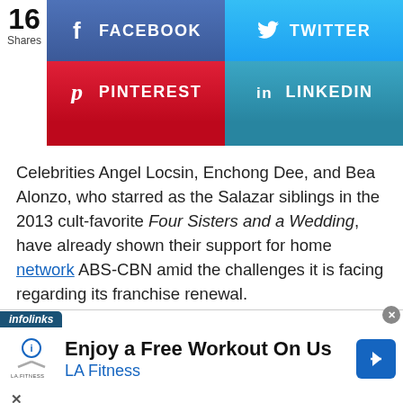[Figure (infographic): Social share buttons: 16 Shares count on left; Facebook (blue) and Twitter (light blue) buttons top row; Pinterest (red) and LinkedIn (teal) buttons second row; partial colored bars third row]
Celebrities Angel Locsin, Enchong Dee, and Bea Alonzo, who starred as the Salazar siblings in the 2013 cult-favorite Four Sisters and a Wedding, have already shown their support for home network ABS-CBN amid the challenges it is facing regarding its franchise renewal.
[Figure (infographic): Infolinks bar label followed by LA Fitness advertisement: 'Enjoy a Free Workout On Us' with LA Fitness logo and blue arrow icon. Close (x) button top right. X close bottom left.]